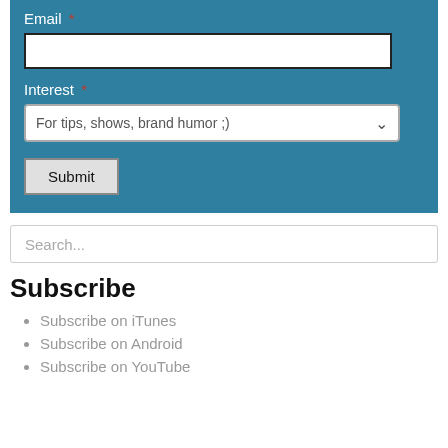Email *
[Figure (screenshot): Email input text field (empty white rectangle with black border)]
Interest *
[Figure (screenshot): Dropdown select field showing 'For tips, shows, brand humor ;)' with chevron]
[Figure (screenshot): Submit button with grey border]
[Figure (screenshot): Search input field with placeholder text 'Search...']
Subscribe
Subscribe on iTunes
Subscribe on Android
Subscribe on YouTube